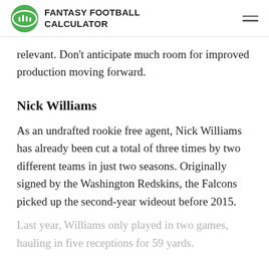FANTASY FOOTBALL CALCULATOR
relevant. Don't anticipate much room for improved production moving forward.
Nick Williams
As an undrafted rookie free agent, Nick Williams has already been cut a total of three times by two different teams in just two seasons. Originally signed by the Washington Redskins, the Falcons picked up the second-year wideout before 2015.
Last year, Williams only played in two games, hauling in five receptions for 59 yards.